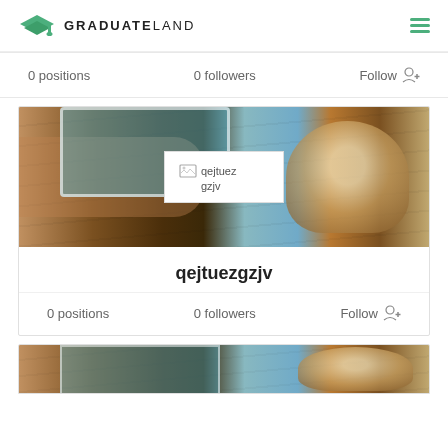[Figure (logo): Graduateland logo with green graduation cap icon and bold uppercase text GRADUATELAND]
0 positions   0 followers   Follow
[Figure (photo): Background photo of hands holding tablet on wooden table with a coffee cup, with a broken image overlay showing 'qejtuezgzjv']
qejtuezgzjv
0 positions   0 followers   Follow
[Figure (photo): Partial bottom card showing same tablet/coffee photo, cropped]